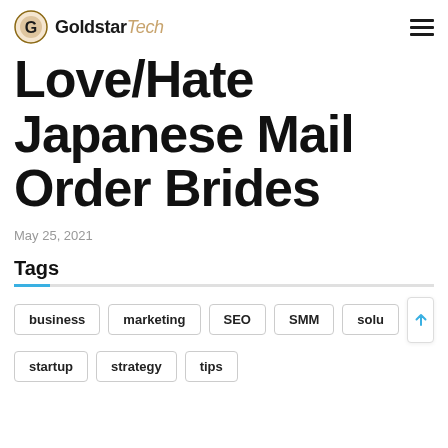GoldstarTech
Love/Hate Japanese Mail Order Brides
May 25, 2021
Tags
business
marketing
SEO
SMM
solu
startup
strategy
tips